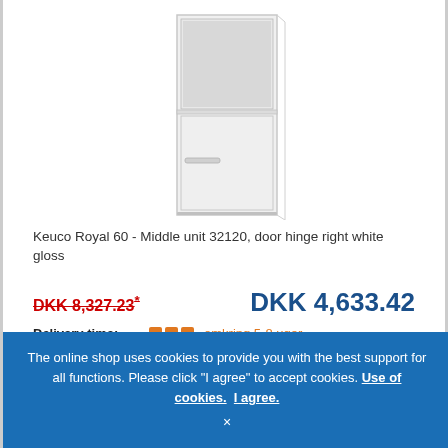[Figure (photo): White bathroom cabinet/middle unit - Keuco Royal 60, door hinge right white gloss, tall narrow cabinet with open top compartment and lower door]
Keuco Royal 60 - Middle unit 32120, door hinge right white gloss
DKK 8,327.23*
DKK 4,633.42
Delivery time: omkring 5-8 uger
Article no.: 32120210002
ADD TO CART
The online shop uses cookies to provide you with the best support for all functions. Please click "I agree" to accept cookies. Use of cookies. I agree.
×